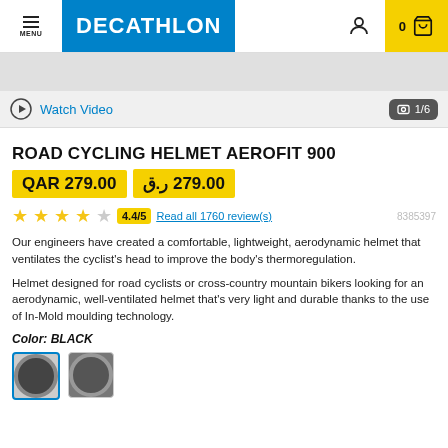[Figure (logo): Decathlon logo - white text on blue background]
Watch Video
1/6
ROAD CYCLING HELMET AEROFIT 900
QAR 279.00  279.00 ر.ق
4.4/5  Read all 1760 review(s)  8385397
Our engineers have created a comfortable, lightweight, aerodynamic helmet that ventilates the cyclist's head to improve the body's thermoregulation.
Helmet designed for road cyclists or cross-country mountain bikers looking for an aerodynamic, well-ventilated helmet that's very light and durable thanks to the use of In-Mold moulding technology.
Color: BLACK